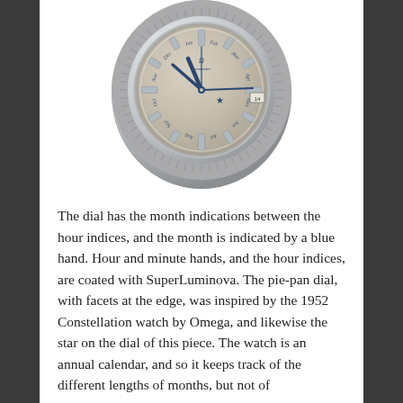[Figure (photo): Close-up photo of an Omega Constellation annual calendar watch with a silver/champagne pie-pan dial, blue hands including a blue month hand, month indications between hour indices, a star motif on the dial, date window, coin-edge bezel, and dark navy blue leather strap. The watch is shown from above at a slight angle showing the dial and upper portion of the case and strap.]
The dial has the month indications between the hour indices, and the month is indicated by a blue hand. Hour and minute hands, and the hour indices, are coated with SuperLuminova. The pie-pan dial, with facets at the edge, was inspired by the 1952 Constellation watch by Omega, and likewise the star on the dial of this piece. The watch is an annual calendar, and so it keeps track of the different lengths of months, but not of